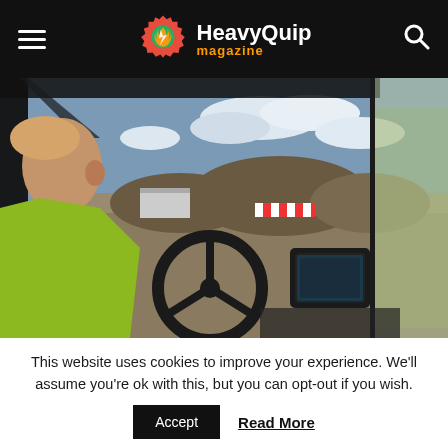HeavyQuip magazine
[Figure (photo): View from inside the cab of a heavy construction machine, showing operator in yellow high-vis jacket looking out over a construction/quarry site through the windshield, with steering wheel, control screen, and mirrors visible.]
This website uses cookies to improve your experience. We'll assume you're ok with this, but you can opt-out if you wish.
Accept  Read More